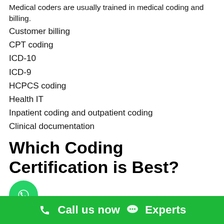Medical coders are usually trained in medical coding and billing.
Customer billing
CPT coding
ICD-10
ICD-9
HCPCS coding
Health IT
Inpatient coding and outpatient coding
Clinical documentation
Which Coding Certification is Best?
A general Medical coding exam training in dharmavaram is the best place to start as a new medical coder. The AAPC's Certified Professional Coder (CPC) exam remains the most
Call us now  Experts